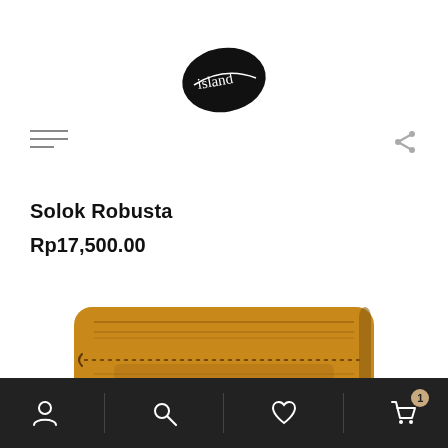[Figure (logo): Island coffee brand logo — black coffee bean shape with handwritten 'island' text in white]
[Figure (other): Hamburger menu icon (three horizontal lines, left-aligned)]
[Figure (other): Share/forward arrow icon, top right]
Solok Robusta
Rp17,500.00
[Figure (photo): Brown kraft paper coffee packaging bag, partially shown from top, with dotted zipper seal and printed label]
[Figure (other): Bottom navigation bar with four icons: user/account, search, wishlist/heart, and shopping cart (with badge showing 1)]